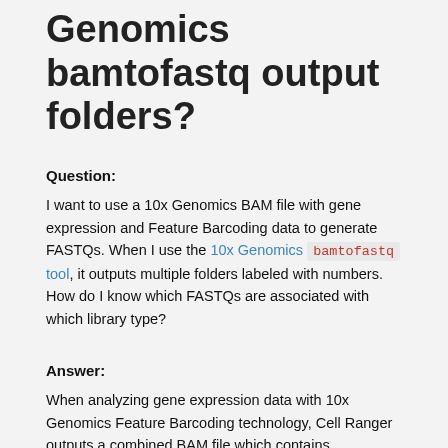Genomics bamtofastq output folders?
Question:
I want to use a 10x Genomics BAM file with gene expression and Feature Barcoding data to generate FASTQs. When I use the 10x Genomics bamtofastq tool, it outputs multiple folders labeled with numbers. How do I know which FASTQs are associated with which library type?
Answer:
When analyzing gene expression data with 10x Genomics Feature Barcoding technology, Cell Ranger outputs a combined BAM file which contains...